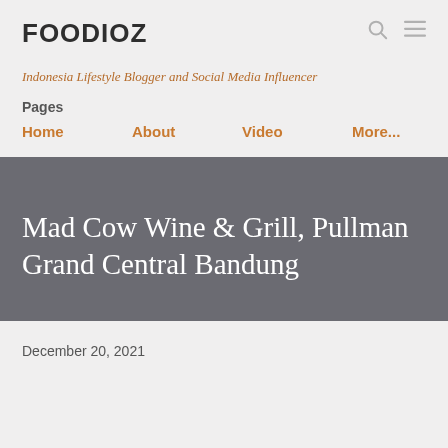FOODIOZ
Indonesia Lifestyle Blogger and Social Media Influencer
Pages
Home
About
Video
More...
Mad Cow Wine & Grill, Pullman Grand Central Bandung
December 20, 2021